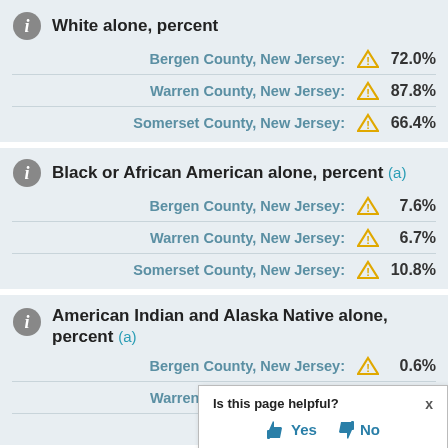White alone, percent
Bergen County, New Jersey: 72.0%
Warren County, New Jersey: 87.8%
Somerset County, New Jersey: 66.4%
Black or African American alone, percent (a)
Bergen County, New Jersey: 7.6%
Warren County, New Jersey: 6.7%
Somerset County, New Jersey: 10.8%
American Indian and Alaska Native alone, percent (a)
Bergen County, New Jersey: 0.6%
Warren County, New Jersey: 0.4%
Somerset County, New Jersey: (partially visible)
Asian alone, percent (a) (partially visible)
[Figure (other): Popup dialog asking 'Is this page helpful?' with Yes and No buttons and a close X]